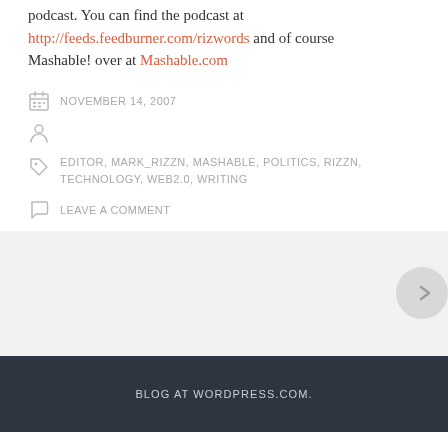podcast. You can find the podcast at http://feeds.feedburner.com/rizwords and of course Mashable! over at Mashable.com
NOVEMBER 14, 2007
EDITOR, MARK_RIZZN, MASHABLE, POLITICS, RIZZN, TECHNOLOGY, WEB2.0, WRITING
LEAVE A COMMENT
BLOG AT WORDPRESS.COM.